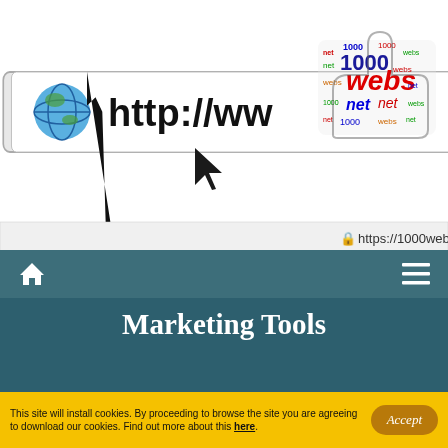[Figure (screenshot): Browser address bar showing http://www with a globe icon and cursor arrow, plus 1000webs.net thumbs-up logo in top right. URL: https://1000webs.net shown below.]
[Figure (screenshot): Navigation bar with home icon on left and hamburger menu on right, dark teal background.]
Marketing Tools
Take a look at the marketing tools that are awaiting you in your Control Panel and discover how they could help you
This site will install cookies. By proceeding to browse the site you are agreeing to download our cookies. Find out more about this here.